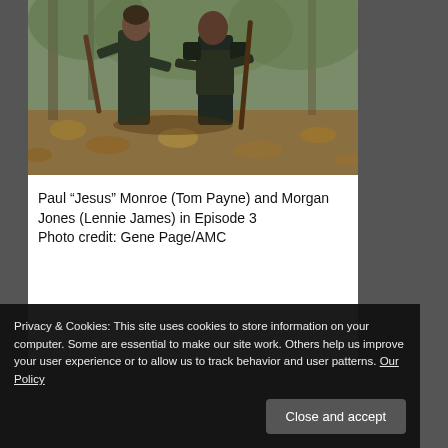[Figure (photo): Two men in dark military/tactical clothing fighting or grappling outdoors in a wooded area with autumn leaves on the ground. Paul 'Jesus' Monroe and Morgan Jones from The Walking Dead.]
Paul “Jesus” Monroe (Tom Payne) and Morgan Jones (Lennie James) in Episode 3
Photo credit: Gene Page/AMC
Privacy & Cookies: This site uses cookies to store information on your computer. Some are essential to make our site work. Others help us improve your user experience or to allow us to track behavior and user patterns. Our Policy
Close and accept